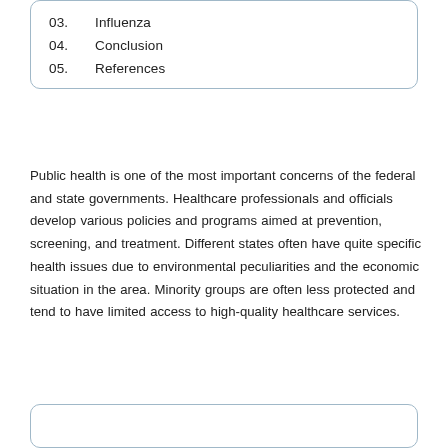03.   Influenza
04.   Conclusion
05.   References
Public health is one of the most important concerns of the federal and state governments. Healthcare professionals and officials develop various policies and programs aimed at prevention, screening, and treatment. Different states often have quite specific health issues due to environmental peculiarities and the economic situation in the area. Minority groups are often less protected and tend to have limited access to high-quality healthcare services.